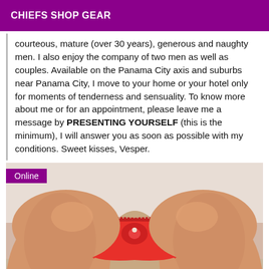CHIEFS SHOP GEAR
courteous, mature (over 30 years), generous and naughty men. I also enjoy the company of two men as well as couples. Available on the Panama City axis and suburbs near Panama City, I move to your home or your hotel only for moments of tenderness and sensuality. To know more about me or for an appointment, please leave me a message by PRESENTING YOURSELF (this is the minimum), I will answer you as soon as possible with my conditions. Sweet kisses, Vesper.
[Figure (photo): Photo showing person from behind wearing red lace underwear, with 'Online' badge overlay in purple]